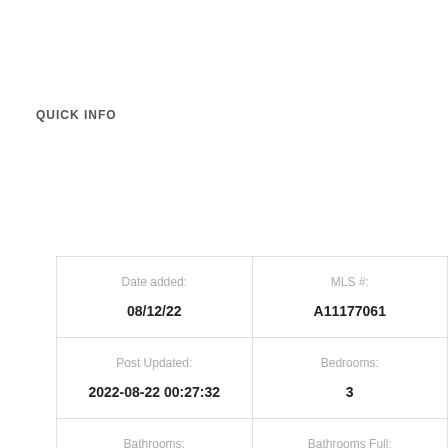QUICK INFO
|  |  |
| --- | --- |
| Date added:
08/12/22 | MLS #:
A11177061 |
| Post Updated:
2022-08-22 00:27:32 | Bedrooms:
3 |
| Bathrooms:
3 | Bathrooms Full:
3 |